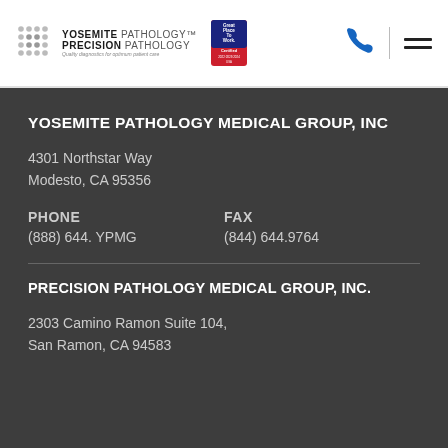[Figure (logo): Yosemite Pathology / Precision Pathology logo with dot icon, text, tagline, and Great Place To Work Certified badge]
YOSEMITE PATHOLOGY MEDICAL GROUP, INC
4301 Northstar Way
Modesto, CA 95356
PHONE
(888) 644. YPMG
FAX
(844) 644.9764
PRECISION PATHOLOGY MEDICAL GROUP, INC.
2303 Camino Ramon Suite 104,
San Ramon, CA 94583